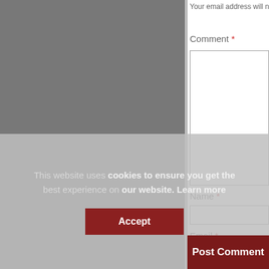Your email address will not be p
Comment *
Name *
Email *
Website
This website uses cookies to ensure you get the best experience on our website. Learn more
Accept
Post Comment